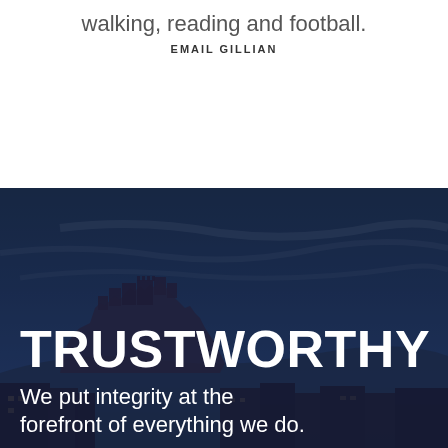walking, reading and football.
EMAIL GILLIAN
[Figure (photo): Edinburgh Castle at dusk with dark blue sky, used as a background banner for the 'Trustworthy' section]
TRUSTWORTHY
We put integrity at the forefront of everything we do.